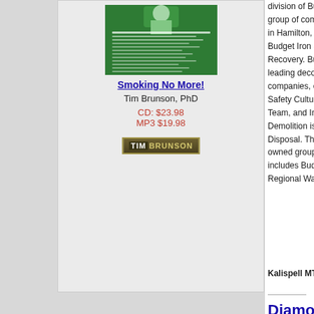[Figure (illustration): Book cover for 'Smoking No More!' - green colored book cover with text]
Smoking No More!
Tim Brunson, PhD
CD: $23.98
MP3 $19.98
[Figure (logo): Tim Brunson author badge/logo - dark brown/olive colored badge]
division of Budget E... group of companies i... in Hamilton, Ontario,... Budget Iron & Metals... Recovery. Budget De... leading decommissio... companies, establish... Safety Culture, a Pro... Team, and Industry L... Demolition is a divisio... Disposal. This group... owned group based i... includes Budget Bin,... Regional Waste Rec...
Kalispell MT
Rep...
Diamond Factor...
Diamond Factory Dal... diamond cutting facili... exceptionally skilled c... technology, that allow... quality of work in diar... engagement rings in... Diamond Factory Dal... diamond cutting facili... exceptionally skilled c... technology, that allow... quality of work in diar... engagement rings in...
International
Rep...